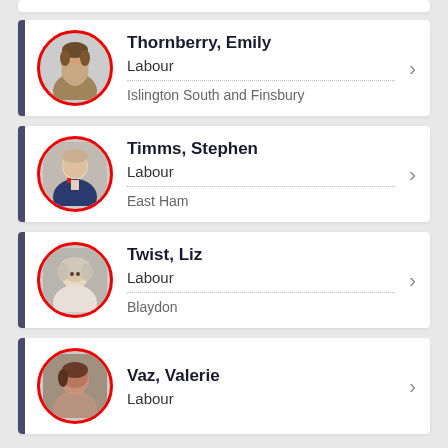Thornberry, Emily | Labour | Islington South and Finsbury
Timms, Stephen | Labour | East Ham
Twist, Liz | Labour | Blaydon
Vaz, Valerie | Labour